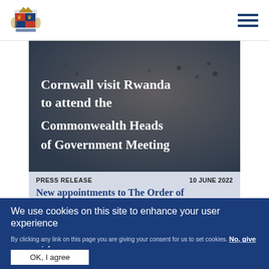[Figure (logo): Royal coat of arms logo, blue and gold, official UK government crest]
[Figure (photo): Background photo showing decorative woven or beaded fabric/textile with people, serving as hero image background for article about Cornwall visit to Rwanda for Commonwealth Heads of Government Meeting]
Cornwall visit Rwanda to attend the Commonwealth Heads of Government Meeting
PRESS RELEASE | 10 JUNE 2022
New appointments to The Order of
We use cookies on this site to enhance your user experience
By clicking any link on this page you are giving your consent for us to set cookies. No, give me more info
OK, I agree